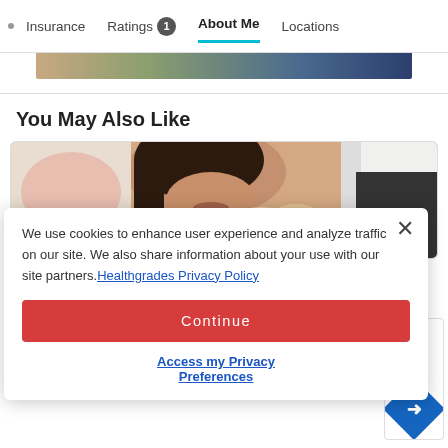Insurance  Ratings 1  About Me  Locations
[Figure (photo): Partial view of a colorful image strip at top of page]
You May Also Like
[Figure (photo): Doctor examining patient's neck/thyroid area — woman with dark hair, doctor's hands on her neck, medical office background]
We use cookies to enhance user experience and analyze traffic on our site. We also share information about your use with our site partners. Healthgrades Privacy Policy
Continue
Access my Privacy Preferences